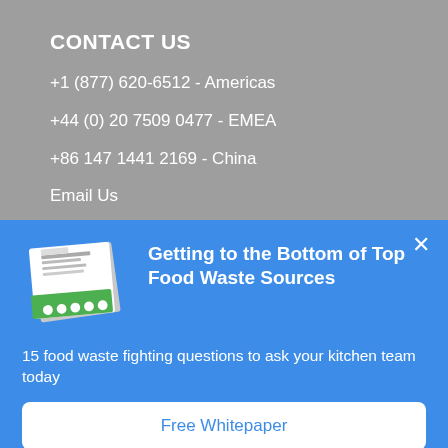CONTACT US
+1 (877) 620-6512 - Americas
+44 (0) 20 7509 0477 - EMEA
+86 147 1441 2169 - China
Email Us
[Figure (illustration): Book cover for 'Getting to the Bottom of Top Food Waste Sources']
Getting to the Bottom of Top Food Waste Sources
15 food waste fighting questions to ask your kitchen team today
Free Whitepaper